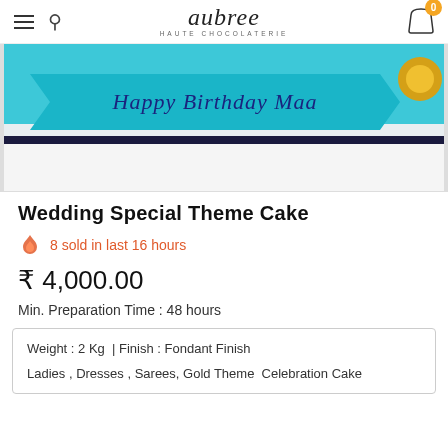aubree HAUTE CHOCOLATERIE
[Figure (photo): Close-up photo of a cake with a teal/turquoise banner decoration reading 'Happy Birthday Maa' in cursive script, with a dark navy ribbon border and a gold decoration visible at the right edge. The bottom portion shows white cake surface.]
Wedding Special Theme Cake
8 sold in last 16 hours
₹ 4,000.00
Min. Preparation Time : 48 hours
Weight : 2 Kg  | Finish : Fondant Finish

Ladies , Dresses , Sarees, Gold Theme  Celebration Cake